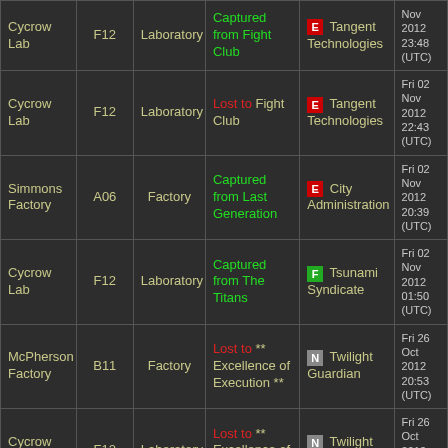| Name | Code | Type | Event | Faction | Date |
| --- | --- | --- | --- | --- | --- |
| Cycrow Lab | F12 | Laboratory | Captured from Fight Club | E Tangent Technologies | Nov 2012 23:48 (UTC) |
| Cycrow Lab | F12 | Laboratory | Lost to Fight Club | E Tangent Technologies | Fri 02 Nov 2012 22:43 (UTC) |
| Simmons Factory | A06 | Factory | Captured from Last Generation | E City Administration | Fri 02 Nov 2012 20:39 (UTC) |
| Cycrow Lab | F12 | Laboratory | Captured from The Titans | F Tsunami Syndicate | Fri 02 Nov 2012 01:50 (UTC) |
| McPherson Factory | B11 | Factory | Lost to ** Excellence of Execution ** | N Twilight Guardian | Fri 26 Oct 2012 20:53 (UTC) |
| Cycrow Lab | F12 | Laboratory | Lost to ** Excellence of Execution ** | N Twilight Guardian | Fri 26 Oct 2012 20:13 (UTC) |